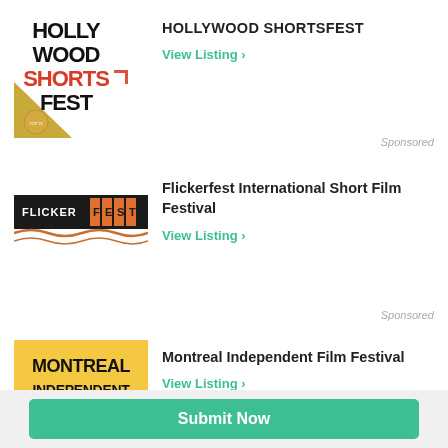[Figure (logo): Hollywood Shortsfest logo: bold black text HOLLY WOOD SHORTS with SHORTS in red, FEST in black, gold triangle at bottom left]
HOLLYWOOD SHORTSFEST
View Listing ›
Sponsored
[Figure (logo): Flickerfest logo: dark banner with FLICKERFEST text in orange/white on black rectangle, wavy lines below]
Flickerfest International Short Film Festival
View Listing ›
Sponsored
[Figure (logo): Montreal Independent Film Festival logo: yellow/gold background with bold black text MONTREAL INDEPENDENT FILM FESTIVAL and film reel icon]
Montreal Independent Film Festival
View Listing ›
Submit Now